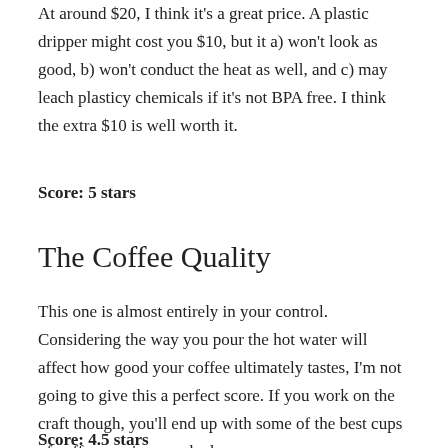At around $20, I think it's a great price. A plastic dripper might cost you $10, but it a) won't look as good, b) won't conduct the heat as well, and c) may leach plasticy chemicals if it's not BPA free. I think the extra $10 is well worth it.
Score: 5 stars
The Coffee Quality
This one is almost entirely in your control. Considering the way you pour the hot water will affect how good your coffee ultimately tastes, I'm not going to give this a perfect score. If you work on the craft though, you'll end up with some of the best cups of coffee  you've ever had.
Score: 4.5 stars